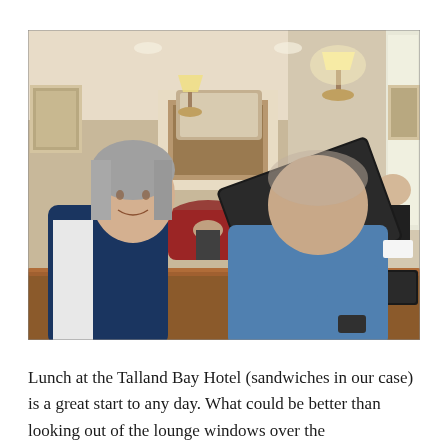[Figure (photo): Two elderly people sitting at a wooden table in a hotel lounge, looking at a black folder/menu together. Papers and a pen are on the table, along with a blue glass of water. In the background, other patrons are seated, and the room has warm lighting, lamps, and reddish armchairs.]
Lunch at the Talland Bay Hotel (sandwiches in our case) is a great start to any day. What could be better than looking out of the lounge windows over the